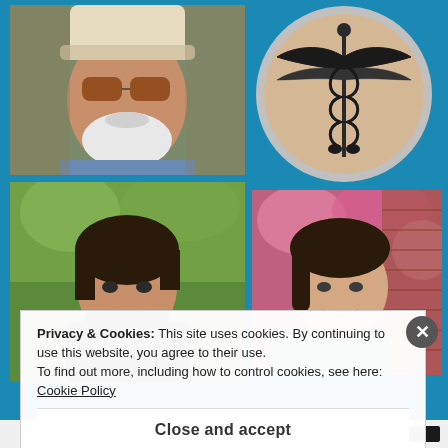[Figure (photo): Portrait of an older man wearing sunglasses and a hat, with white beard, painted/illustrated style]
[Figure (logo): Medical caduceus symbol on a round copper/peach colored badge with silver border]
[Figure (photo): Young man with dark beard looking to the side, outdoor setting with green trees in background]
[Figure (photo): Woman with dark hair smiling, outdoors with pink flowers and brick wall in background]
Privacy & Cookies: This site uses cookies. By continuing to use this website, you agree to their use.
To find out more, including how to control cookies, see here: Cookie Policy
Close and accept